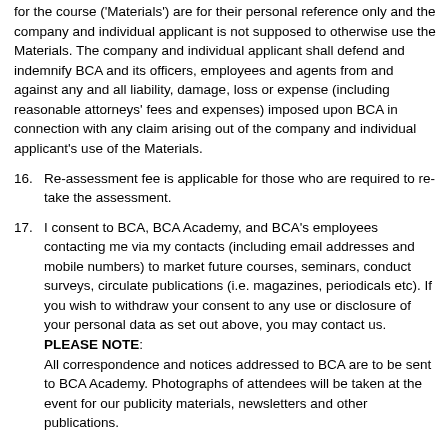for the course ('Materials') are for their personal reference only and the company and individual applicant is not supposed to otherwise use the Materials. The company and individual applicant shall defend and indemnify BCA and its officers, employees and agents from and against any and all liability, damage, loss or expense (including reasonable attorneys' fees and expenses) imposed upon BCA in connection with any claim arising out of the company and individual applicant's use of the Materials.
16. Re-assessment fee is applicable for those who are required to re-take the assessment.
17. I consent to BCA, BCA Academy, and BCA's employees contacting me via my contacts (including email addresses and mobile numbers) to market future courses, seminars, conduct surveys, circulate publications (i.e. magazines, periodicals etc). If you wish to withdraw your consent to any use or disclosure of your personal data as set out above, you may contact us. PLEASE NOTE: All correspondence and notices addressed to BCA are to be sent to BCA Academy. Photographs of attendees will be taken at the event for our publicity materials, newsletters and other publications.